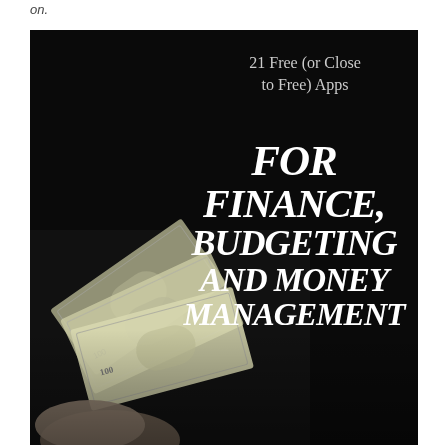on.
[Figure (illustration): Dark/black cover image featuring a hand holding fanned-out US dollar bills against a black background, with overlaid text reading '21 Free (or Close to Free) Apps FOR FINANCE, BUDGETING AND MONEY MANAGEMENT']